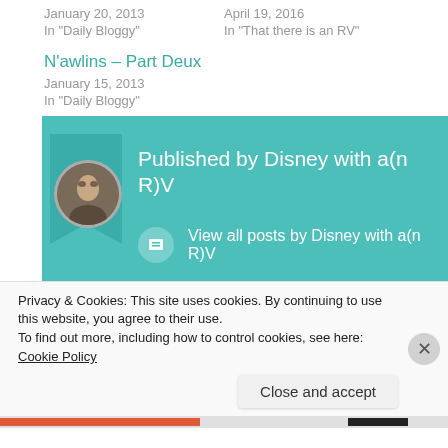January 20, 2013
In "Daily Bloggy"
April 19, 2016
In "That there is an RV"
N'awlins – Part Deux
January 15, 2013
In "Daily Bloggy"
[Figure (infographic): Teal author banner with bookmark shape, circular avatar photo, and text 'Published by Disney with a(n R)V' and 'View all posts by Disney with a(n R)V']
Privacy & Cookies: This site uses cookies. By continuing to use this website, you agree to their use.
To find out more, including how to control cookies, see here: Cookie Policy
Close and accept